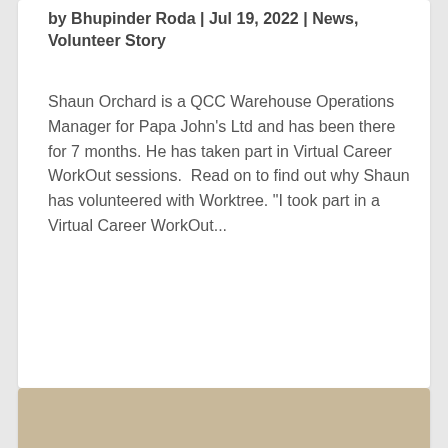by Bhupinder Roda | Jul 19, 2022 | News, Volunteer Story
Shaun Orchard is a QCC Warehouse Operations Manager for Papa John's Ltd and has been there for 7 months. He has taken part in Virtual Career WorkOut sessions.  Read on to find out why Shaun has volunteered with Worktree. "I took part in a Virtual Career WorkOut...